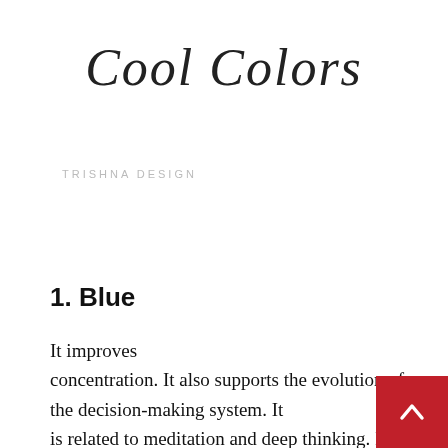Cool Colors
TRISHNA DESIGN
1. Blue
It improves concentration. It also supports the evolution of the decision-making system. It is related to meditation and deep thinking. It has something to do with sentiments of security and safety. It has a rel impact, which causes it to